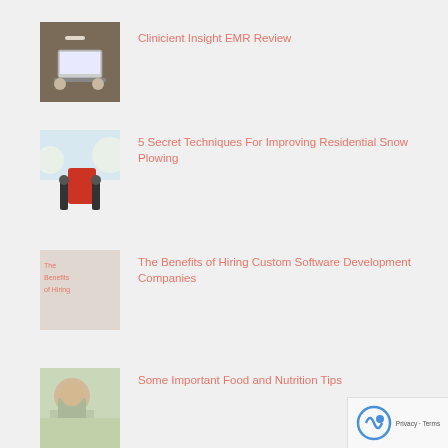Clinicient Insight EMR Review
5 Secret Techniques For Improving Residential Snow Plowing
The Benefits of Hiring Custom Software Development Companies
Some Important Food and Nutrition Tips